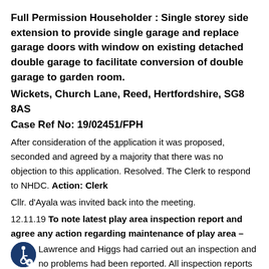Full Permission Householder : Single storey side extension to provide single garage and replace garage doors with window on existing detached double garage to facilitate conversion of double garage to garden room.
Wickets, Church Lane, Reed, Hertfordshire, SG8 8AS
Case Ref No: 19/02451/FPH
After consideration of the application it was proposed, seconded and agreed by a majority that there was no objection to this application. Resolved. The Clerk to respond to NHDC. Action: Clerk
Cllr. d'Ayala was invited back into the meeting.
12.11.19 To note latest play area inspection report and agree any action regarding maintenance of play area – Lawrence and Higgs had carried out an inspection and no problems had been reported. All inspection reports